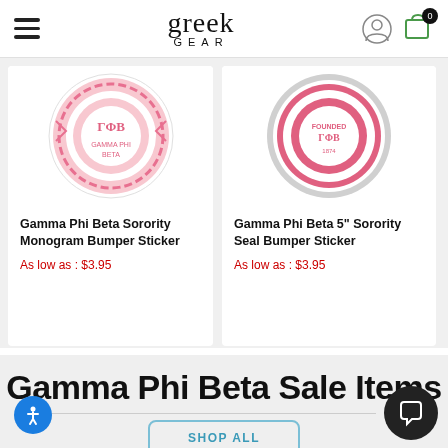greek gear
[Figure (photo): Gamma Phi Beta Sorority Monogram Bumper Sticker product image - circular pink sticker with chevron pattern]
Gamma Phi Beta Sorority Monogram Bumper Sticker
As low as : $3.95
[Figure (photo): Gamma Phi Beta 5" Sorority Seal Bumper Sticker product image - circular pink and gray seal sticker]
Gamma Phi Beta 5" Sorority Seal Bumper Sticker
As low as : $3.95
Gamma Phi Beta Sale Items
SHOP ALL